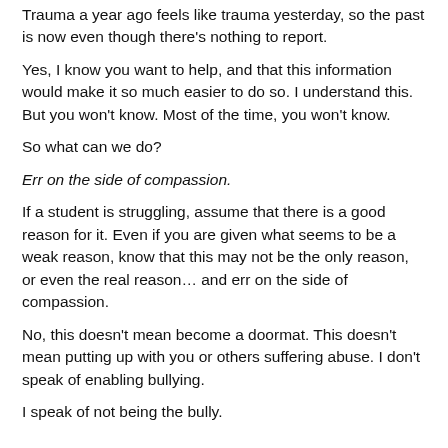Trauma a year ago feels like trauma yesterday, so the past is now even though there's nothing to report.
Yes, I know you want to help, and that this information would make it so much easier to do so. I understand this. But you won't know. Most of the time, you won't know.
So what can we do?
Err on the side of compassion.
If a student is struggling, assume that there is a good reason for it. Even if you are given what seems to be a weak reason, know that this may not be the only reason, or even the real reason… and err on the side of compassion.
No, this doesn't mean become a doormat. This doesn't mean putting up with you or others suffering abuse. I don't speak of enabling bullying.
I speak of not being the bully.